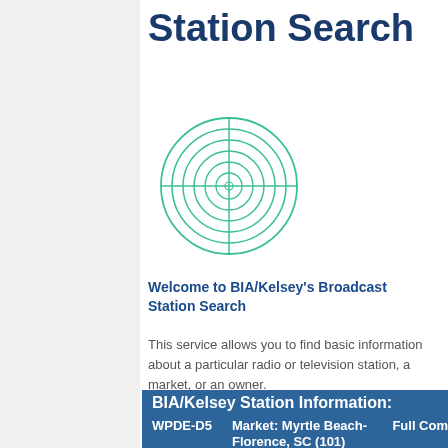Station Search
[Figure (illustration): Radar/target icon with concentric circles and crosshairs, drawn in teal/green color]
Welcome to BIA/Kelsey's Broadcast Station Search
This service allows you to find basic information about a particular radio or television station, a market, or an owner.
BIA/Kelsey Station Information:
WPDE-D5    Market: Myrtle Beach-Florence, SC (101)    Full Com